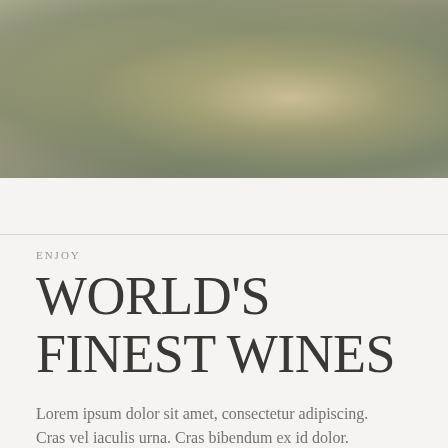[Figure (photo): Blurred outdoor photo, likely a vineyard landscape with muted green and golden tones]
ENJOY
WORLD'S FINEST WINES
Lorem ipsum dolor sit amet, consectetur adipiscing. Cras vel iaculis urna. Cras bibendum ex id dolor.